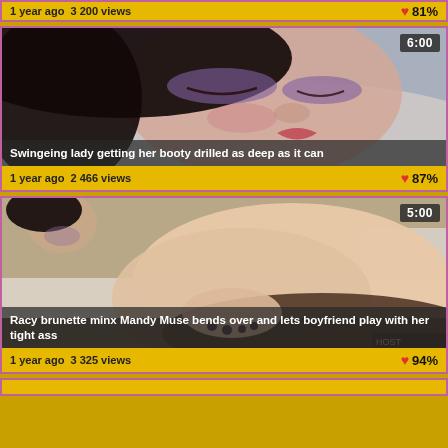1 year ago  3 200 views   ♥ 81%
[Figure (photo): Close-up photo of a dark-haired woman lying down with eyes closed, duration badge 6:00, title: Swingeing lady getting her booty drilled as deep as it can]
1 year ago  2 466 views   ♥ 87%
[Figure (photo): Photo of a brunette woman bending over, duration badge 5:00, title: Racy brunette minx Mandy Muse bends over and lets boyfriend play with her tight ass]
1 year ago  3 325 views   ♥ 94%